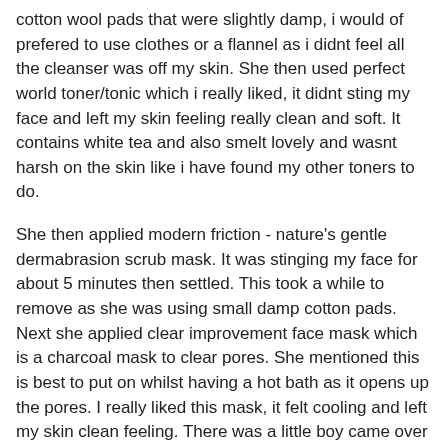cotton wool pads that were slightly damp, i would of prefered to use clothes or a flannel as i didnt feel all the cleanser was off my skin. She then used perfect world toner/tonic which i really liked, it didnt sting my face and left my skin feeling really clean and soft. It contains white tea and also smelt lovely and wasnt harsh on the skin like i have found my other toners to do.
She then applied modern friction - nature's gentle dermabrasion scrub mask. It was stinging my face for about 5 minutes then settled. This took a while to remove as she was using small damp cotton pads. Next she applied clear improvement face mask which is a charcoal mask to clear pores. She mentioned this is best to put on whilst having a hot bath as it opens up the pores. I really liked this mask, it felt cooling and left my skin clean feeling. There was a little boy came over after she had applied the mask (as its a dark grey charcoal colour!) and asked if he could have his face painted too!! :)
Next she applied Perfect World Serum and i felt my skin afterwards - it felt baby soft all over! I have never felt my skin